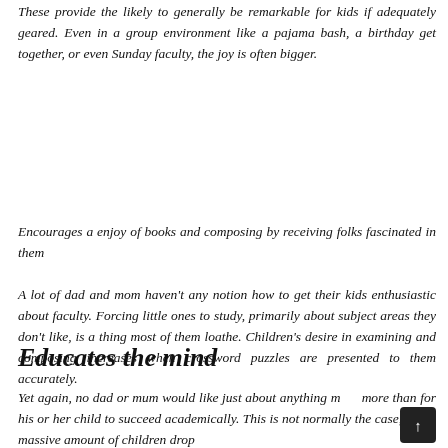These provide the likely to generally be remarkable for kids if adequately geared. Even in a group environment like a pajama bash, a birthday get together, or even Sunday faculty, the joy is often bigger.
Encourages a enjoy of books and composing by receiving folks fascinated in them
A lot of dad and mom haven't any notion how to get their kids enthusiastic about faculty. Forcing little ones to study, primarily about subject areas they don't like, is a thing most of them loathe. Children's desire in examining and composing increases when crossword puzzles are presented to them accurately.
Educates the mind
Yet again, no dad or mum would like just about anything more than for his or her child to succeed academically. This is not normally the case, and a massive amount of children drop